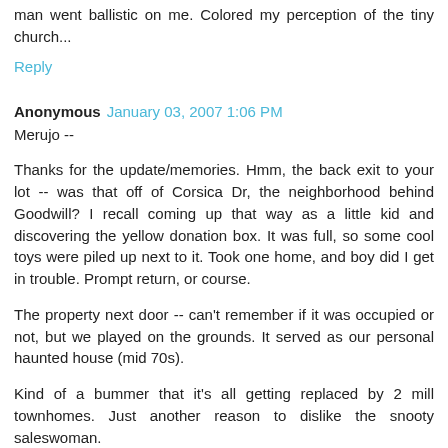man went ballistic on me. Colored my perception of the tiny church...
Reply
Anonymous January 03, 2007 1:06 PM
Merujo --
Thanks for the update/memories. Hmm, the back exit to your lot -- was that off of Corsica Dr, the neighborhood behind Goodwill? I recall coming up that way as a little kid and discovering the yellow donation box. It was full, so some cool toys were piled up next to it. Took one home, and boy did I get in trouble. Prompt return, or course.
The property next door -- can't remember if it was occupied or not, but we played on the grounds. It served as our personal haunted house (mid 70s).
Kind of a bummer that it's all getting replaced by 2 mill townhomes. Just another reason to dislike the snooty saleswoman.